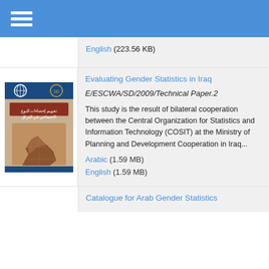≡ (navigation menu)
English (223.56 KB)
Evaluating Gender Statistics in Iraq
E/ESCWA/SD/2009/Technical Paper.2
This study is the result of bilateral cooperation between the Central Organization for Statistics and Information Technology (COSIT) at the Ministry of Planning and Development Cooperation in Iraq...
Arabic (1.59 MB)
English (1.59 MB)
Catalogue for Arab Gender Statistics